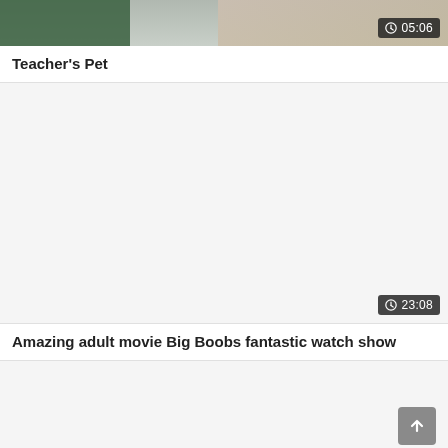[Figure (screenshot): Video thumbnail for Teacher's Pet with duration badge showing 05:06]
Teacher's Pet
[Figure (screenshot): Video thumbnail (white/blank) for Amazing adult movie Big Boobs fantastic watch show with duration badge showing 23:08]
Amazing adult movie Big Boobs fantastic watch show
[Figure (screenshot): Partial video thumbnail (white/blank) with scroll-to-top button in bottom right]